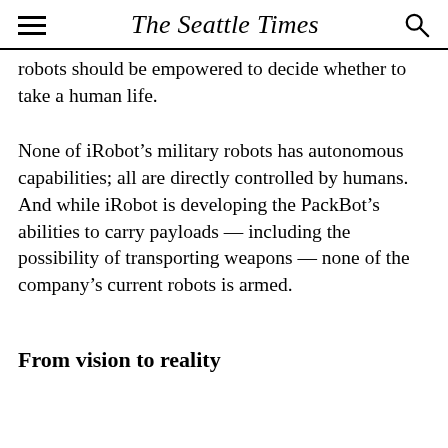The Seattle Times
robots should be empowered to decide whether to take a human life.
None of iRobot’s military robots has autonomous capabilities; all are directly controlled by humans. And while iRobot is developing the PackBot’s abilities to carry payloads — including the possibility of transporting weapons — none of the company’s current robots is armed.
From vision to reality